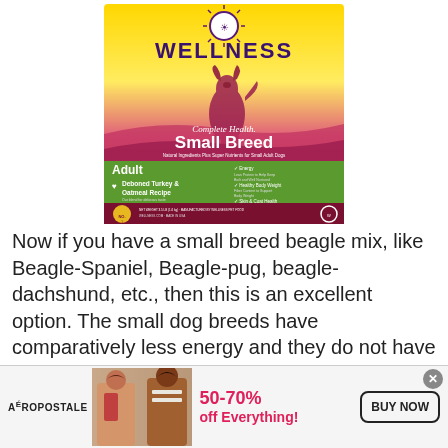[Figure (photo): Wellness Complete Health Small Breed Adult dog food bag — Deboned Turkey & Oatmeal Recipe. Yellow/pink gradient background with dog silhouette and green band showing 'Adult' and product details.]
Now if you have a small breed beagle mix, like Beagle-Spaniel, Beagle-pug, beagle-dachshund, etc., then this is an excellent option. The small dog breeds have comparatively less energy and they do not have as much nutritional requirement as medium or large breeds.
[Figure (photo): Aéropostale advertisement banner showing two models and text '50-70% off Everything!' with a 'BUY NOW' button.]